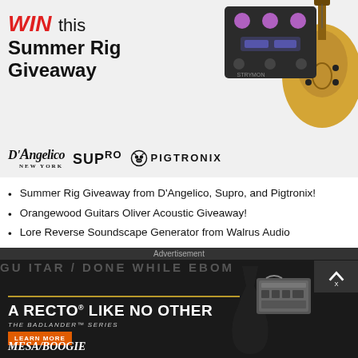[Figure (photo): Summer Rig Giveaway promotional banner featuring WIN this Summer Rig Giveaway text in red and black, with D'Angelico, Supro, and Pigtronix logos, guitar pedal and acoustic guitar images]
Summer Rig Giveaway from D'Angelico, Supro, and Pigtronix!
Orangewood Guitars Oliver Acoustic Giveaway!
Lore Reverse Soundscape Generator from Walrus Audio
Win an ENGL Ironball!
Yvette Young Signature YY20 Giveaway!
[Figure (photo): Mesa/Boogie Badlander Series advertisement on dark background: 'A RECTO LIKE NO OTHER - THE BADLANDER SERIES' with amp and guitar images, LEARN MORE orange button, and Mesa/Boogie logo]